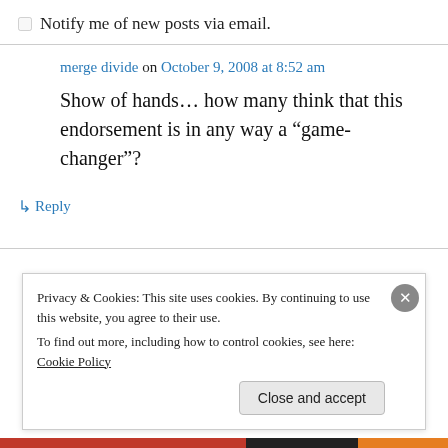Notify me of new posts via email.
merge divide on October 9, 2008 at 8:52 am
Show of hands… how many think that this endorsement is in any way a “game-changer”?
↳ Reply
Privacy & Cookies: This site uses cookies. By continuing to use this website, you agree to their use.
To find out more, including how to control cookies, see here: Cookie Policy